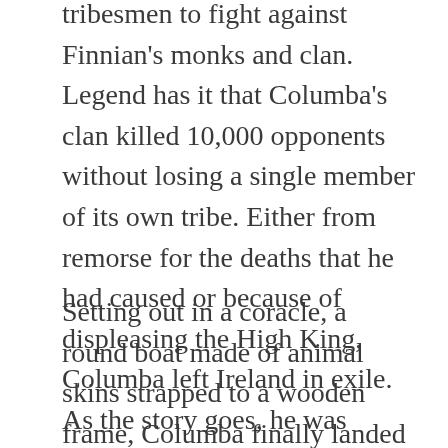tribesmen to fight against Finnian's monks and clan. Legend has it that Columba's clan killed 10,000 opponents without losing a single member of its own tribe. Either from remorse for the deaths that he had caused or because of displeasing the High King, Columba left Ireland in exile. As the story goes, he was banished until he had converted as many people to the Christian faith as he and his clan had killed in battle.
Setting out in a coracle, a round boat made of animal skins strapped to a wooden frame, Columba finally landed on the shores of Iona and climbed a hillside. Reportedly it was the first place he had